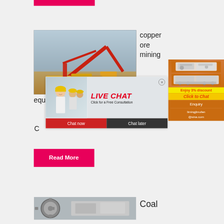[Figure (photo): Pink/red banner bar at top of page]
[Figure (photo): Mining equipment / crusher machinery at an open-pit mine site with red crane structures and yellow machinery on sandy ground]
copper ore mining
equi
[Figure (screenshot): Live chat popup overlay showing workers in hard hats with text LIVE CHAT and Click for a Free Consultation, with Chat now and Chat later buttons and a close (X) button]
[Figure (photo): Orange sidebar panel with two machinery/crusher equipment images, Enjoy 3% discount text in yellow, Click to Chat in orange/red italic text, Enquiry section, and limingjlmofen@sina.com email]
Enjoy 3% discount
Click to Chat
Enquiry
limingjlmofen@sina.com
[Figure (photo): Read More button in pink/red]
C
Coal
[Figure (photo): Industrial machinery / gear wheel at bottom of page]